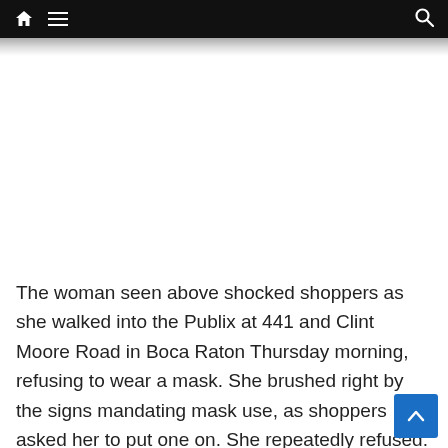Navigation bar with home icon, hamburger menu, and search icon
[Figure (other): Advertisement or image placeholder area — white/blank space below navigation]
The woman seen above shocked shoppers as she walked into the Publix at 441 and Clint Moore Road in Boca Raton Thursday morning, refusing to wear a mask. She brushed right by the signs mandating mask use, as shoppers asked her to put one on. She repeatedly refused. She then, in a sentence full of pauses, stated